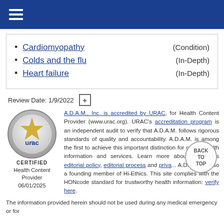Navigation menu header bar
Cardiomyopathy (Condition)
Colds and the flu (In-Depth)
Heart failure (In-Depth)
Review Date: 1/9/2022
[Figure (logo): URAC certified Health Content Provider logo badge, 06/01/2025]
A.D.A.M., Inc. is accredited by URAC, for Health Content Provider (www.urac.org). URAC's accreditation program is an independent audit to verify that A.D.A.M. follows rigorous standards of quality and accountability. A.D.A.M. is among the first to achieve this important distinction for online health information and services. Learn more about A.D.A.M.'s editorial policy, editorial process and privacy policy. A.D.A.M. is also a founding member of Hi-Ethics. This site complies with the HONcode standard for trustworthy health information: verify here.
The information provided herein should not be used during any medical emergency or for